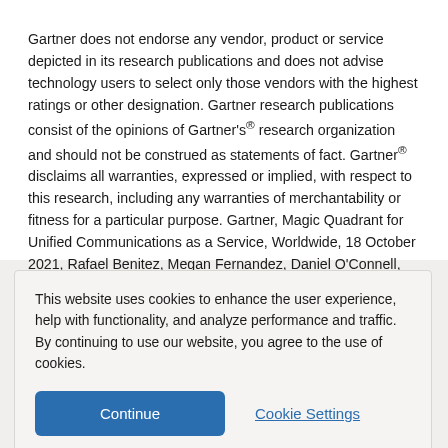Gartner does not endorse any vendor, product or service depicted in its research publications and does not advise technology users to select only those vendors with the highest ratings or other designation. Gartner research publications consist of the opinions of Gartner's® research organization and should not be construed as statements of fact. Gartner® disclaims all warranties, expressed or implied, with respect to this research, including any warranties of merchantability or fitness for a particular purpose. Gartner, Magic Quadrant for Unified Communications as a Service, Worldwide, 18 October 2021, Rafael Benitez, Megan Fernandez, Daniel O'Connell, Christopher Trueman, Pankil Sheth. Gartner and Magic
This website uses cookies to enhance the user experience, help with functionality, and analyze performance and traffic. By continuing to use our website, you agree to the use of cookies.